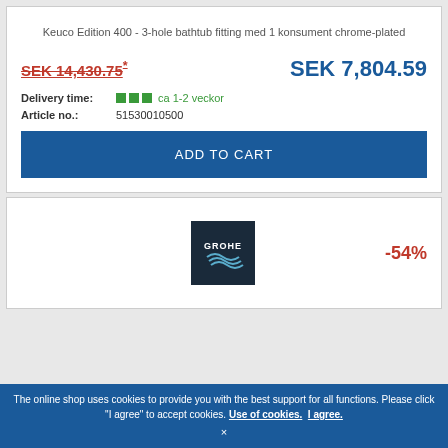Keuco Edition 400 - 3-hole bathtub fitting med 1 konsument chrome-plated
SEK 14,430.75* SEK 7,804.59
Delivery time: ca 1-2 veckor
Article no.: 51530010500
ADD TO CART
[Figure (logo): GROHE logo on dark navy background with wave design]
-54%
The online shop uses cookies to provide you with the best support for all functions. Please click "I agree" to accept cookies. Use of cookies. I agree. ×